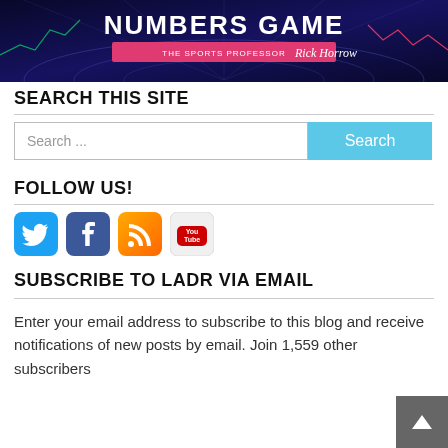[Figure (illustration): Banner image for 'Numbers Game with The Sports Professor Rick Horrow' showing dark blue background with glowing circular grid lines and stock chart lines in corners. White bold text reads 'NUMBERS GAME' and a pink banner reads 'THE SPORTS PROFESSOR Rick Horrow']
SEARCH THIS SITE
[Figure (screenshot): Search bar with placeholder text 'Search ...' and a blue 'Search' button]
FOLLOW US!
[Figure (infographic): Social media icons: Twitter (blue bird), Facebook (dark blue f), RSS (orange), YouTube (gray with YouTube logo)]
SUBSCRIBE TO LADR VIA EMAIL
Enter your email address to subscribe to this blog and receive notifications of new posts by email. Join 1,559 other subscribers